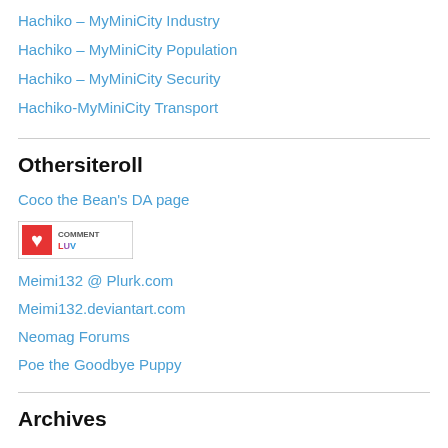Hachiko – MyMiniCity Industry
Hachiko – MyMiniCity Population
Hachiko – MyMiniCity Security
Hachiko-MyMiniCity Transport
Othersiteroll
Coco the Bean's DA page
[Figure (logo): CommentLuv badge with red heart icon and 'COMMENTLUV' text in colorful letters]
Meimi132 @ Plurk.com
Meimi132.deviantart.com
Neomag Forums
Poe the Goodbye Puppy
Archives
January 2019
June 2016